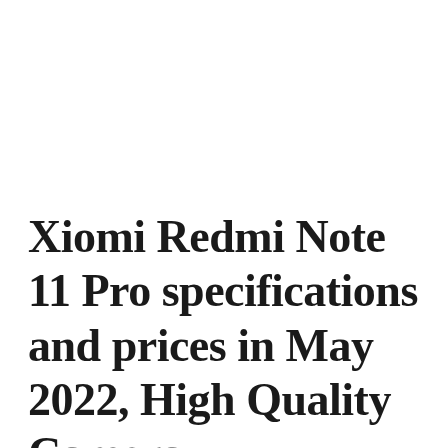Xiomi Redmi Note 11 Pro specifications and prices in May 2022, High Quality Camera